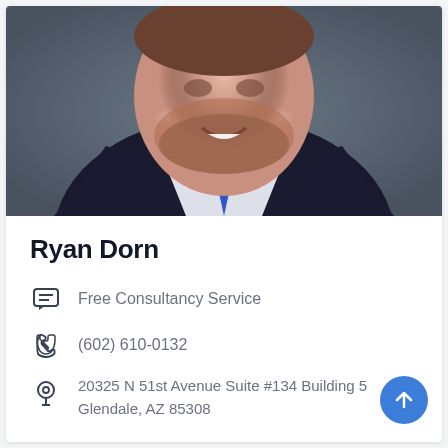[Figure (photo): Professional headshot of Ryan Dorn, a man in a dark suit with a blue tie, smiling, against a gray background.]
Ryan Dorn
Free Consultancy Service
(602) 610-0132
20325 N 51st Avenue Suite #134 Building 5 Glendale, AZ 85308